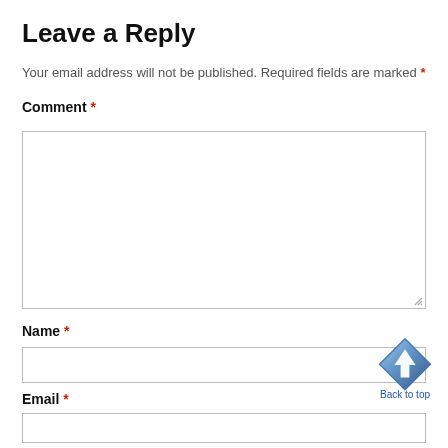Leave a Reply
Your email address will not be published. Required fields are marked *
Comment *
[Figure (screenshot): Empty comment textarea input box with resize handle]
Name *
[Figure (screenshot): Empty name text input box]
[Figure (illustration): Blue diamond-shaped 'Back to top' button with upward arrow icon and 'Back to top' label below]
Email *
[Figure (screenshot): Empty email text input box (partially visible)]